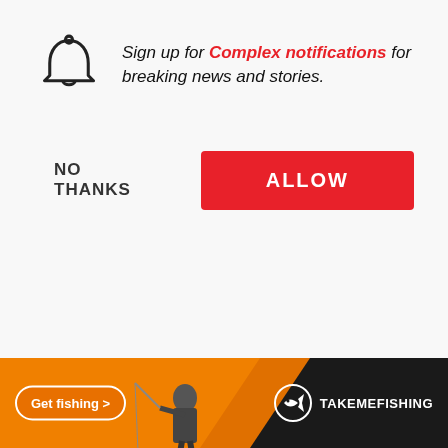Sign up for Complex notifications for breaking news and stories.
NO THANKS
ALLOW
different categories athletic.
[Figure (screenshot): 360 With Speedy Morman video thumbnail showing two people]
DJ Khaled On How To Get A Jay ZVerse, ObamaWalking Out To All IDo Is Win & God Did
[Figure (photo): TakeMeFishing advertisement banner with person fishing, orange and dark background]